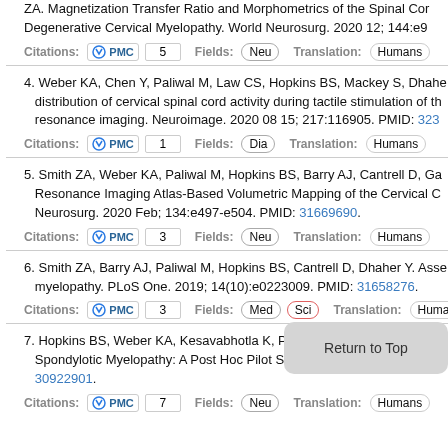Paliwal M, Weber KA, Hopkins BS, Cantrell D, Hoggart M, Zlote ZA. Magnetization Transfer Ratio and Morphometrics of the Spinal Cord in Degenerative Cervical Myelopathy. World Neurosurg. 2020 12; 144:e9... Citations: PMC 5 Fields: Neu Translation: Humans
4. Weber KA, Chen Y, Paliwal M, Law CS, Hopkins BS, Mackey S, Dhahe... distribution of cervical spinal cord activity during tactile stimulation of th... resonance imaging. Neuroimage. 2020 08 15; 217:116905. PMID: 323... Citations: PMC 1 Fields: Dia Translation: Humans
5. Smith ZA, Weber KA, Paliwal M, Hopkins BS, Barry AJ, Cantrell D, Ga... Resonance Imaging Atlas-Based Volumetric Mapping of the Cervical C... Neurosurg. 2020 Feb; 134:e497-e504. PMID: 31669690. Citations: PMC 3 Fields: Neu Translation: Humans
6. Smith ZA, Barry AJ, Paliwal M, Hopkins BS, Cantrell D, Dhaher Y. Asse... myelopathy. PLoS One. 2019; 14(10):e0223009. PMID: 31658276. Citations: PMC 3 Fields: Med Sci Translation: Huma...
7. Hopkins BS, Weber KA, Kesavabhotla K, Paliw... Smith... Spondylotic Myelopathy: A Post Hoc Pilot Stud... s. Wo... 30922901. Citations: PMC 7 Fields: Neu Translation: Humans